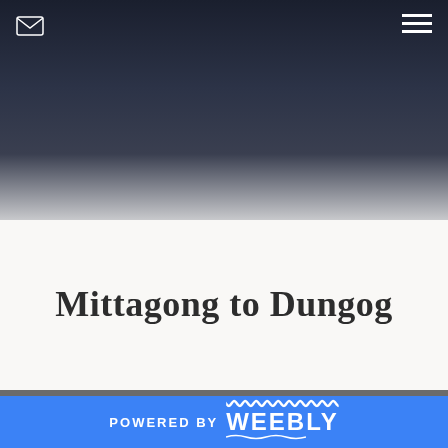[Figure (photo): Dark mountain/landscape hero image with dark navy gradient sky at the top of the page]
Mittagong to Dungog
TRANSLATE
[Figure (logo): Bing logo with stylized b icon and 'bing' text]
Day 6 - Jenolan Caves to Newnes - 101kms
POWERED BY weebly